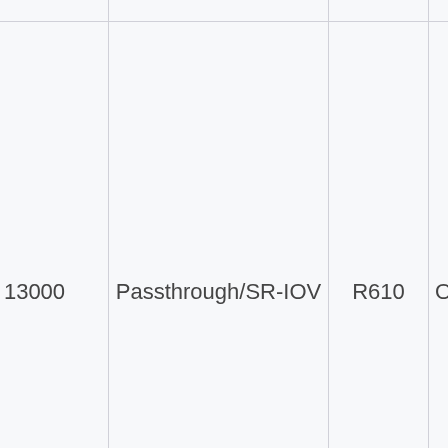| (ID) | Type | Item | Baremetal/... |
| --- | --- | --- | --- |
| 3000 (partial) | Physical | Atom | Baremetal (partial) |
| 13000 | Passthrough/SR-IOV | R610 | OpenStack/VmW... |
| 25000 (partial) | Physical | R610 | Baremetal (partial) |